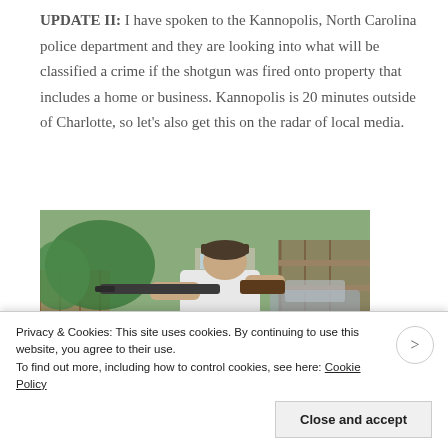UPDATE II: I have spoken to the Kannopolis, North Carolina police department and they are looking into what will be classified a crime if the shotgun was fired onto property that includes a home or business. Kannopolis is 20 minutes outside of Charlotte, so let's also get this on the radar of local media.
[Figure (photo): A person in a white t-shirt aiming a shotgun in a backyard with green grass, trees, and a wooden fence in the background.]
Privacy & Cookies: This site uses cookies. By continuing to use this website, you agree to their use. To find out more, including how to control cookies, see here: Cookie Policy
Close and accept